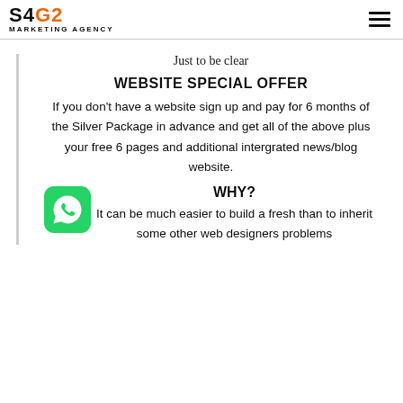S4G2 MARKETING AGENCY
Just to be clear
WEBSITE SPECIAL OFFER
If you don't have a website sign up and pay for 6 months of the Silver Package in advance and get all of the above plus your free 6 pages and additional intergrated news/blog website.
[Figure (logo): WhatsApp green rounded square icon with phone handset logo]
WHY?
It can be much easier to build a fresh than to inherit some other web designers problems